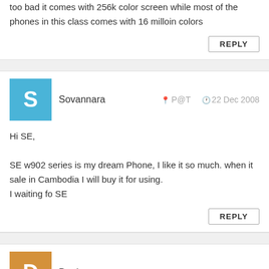too bad it comes with 256k color screen while most of the phones in this class comes with 16 milloin colors
REPLY
Sovannara   P@T   22 Dec 2008
Hi SE,

SE w902 series is my dream Phone, I like it so much. when it sale in Cambodia I will buy it for using.
I waiting fo SE
REPLY
Dani   nGA   22 Dec 2008